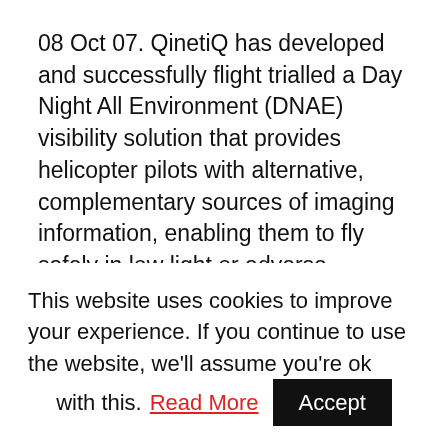08 Oct 07. QinetiQ has developed and successfully flight trialled a Day Night All Environment (DNAE) visibility solution that provides helicopter pilots with alternative, complementary sources of imaging information, enabling them to fly safely in low light or adverse weather conditions. When added to a suite of navigational and tactical guidance aids also being developed by QinetiQ, the existing operational envelope of the aircraft can be considerably expanded. Helicopter operations are often constrained by a variety of environmental conditions. Atmospheric obscurants such as fog, cloud, rain and snow can lead to hazardous
This website uses cookies to improve your experience. If you continue to use the website, we'll assume you're ok with this. Read More Accept